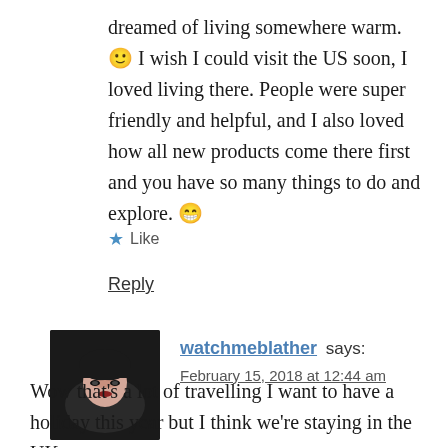dreamed of living somewhere warm. 🙂 I wish I could visit the US soon, I loved living there. People were super friendly and helpful, and I also loved how all new products come there first and you have so many things to do and explore. 😁
★ Like
Reply
[Figure (photo): Profile photo of a young woman wearing a dark beanie hat, with dark eye makeup, against a dark background.]
watchmeblather says: February 15, 2018 at 12:44 am
Wow that's a lot of travelling I want to have a holiday this year but I think we're staying in the UK